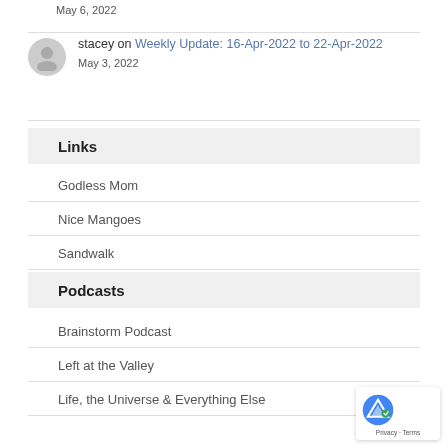May 6, 2022
stacey on Weekly Update: 16-Apr-2022 to 22-Apr-2022
May 3, 2022
Links
Godless Mom
Nice Mangoes
Sandwalk
Podcasts
Brainstorm Podcast
Left at the Valley
Life, the Universe & Everything Else